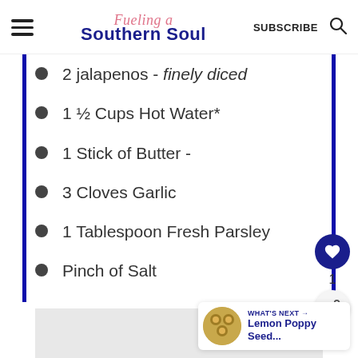Fueling a Southern Soul | SUBSCRIBE
2 jalapenos - finely diced
1 ½ Cups Hot Water*
1 Stick of Butter -
3 Cloves Garlic
1 Tablespoon Fresh Parsley
Pinch of Salt